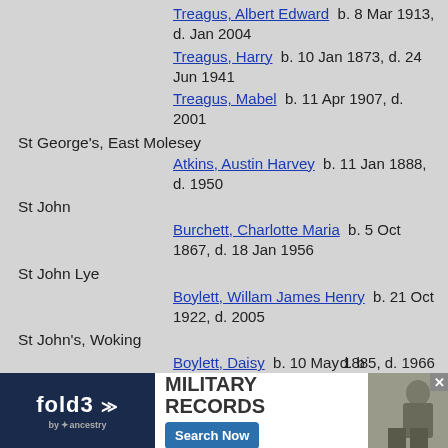Treagus, Albert Edward  b. 8 Mar 1913, d. Jan 2004
Treagus, Harry  b. 10 Jan 1873, d. 24 Jun 1941
Treagus, Mabel  b. 11 Apr 1907, d. 2001
St George's, East Molesey
Atkins, Austin Harvey  b. 11 Jan 1888, d. 1950
St John
Burchett, Charlotte Maria  b. 5 Oct 1867, d. 18 Jan 1956
St John Lye
Boylett, Willam James Henry  b. 21 Oct 1922, d. 2005
St John's, Woking
Boylett, Daisy  b. 10 May 1885, d. 1966
Daborn, Ann  b. 10 Mar 1805, d. b 13 Apr 1881
Hall, James  b. 25 Dec 1875, d. 10 Aug 1917
[Figure (infographic): fold3 Military Records advertisement banner with Search Now button and photo of soldier]